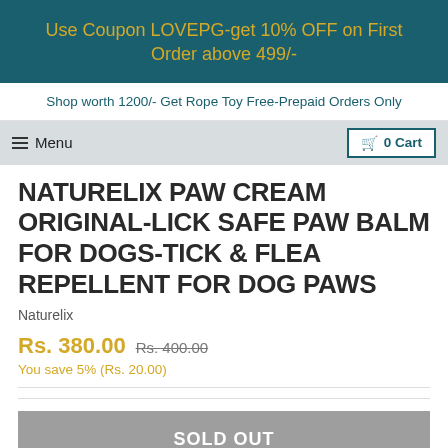Use Coupon LOVEPG-get 10% OFF on First Order above 499/-
Shop worth 1200/- Get Rope Toy Free-Prepaid Orders Only
≡ Menu   🛒 0 Cart
NATURELIX PAW CREAM ORIGINAL-LICK SAFE PAW BALM FOR DOGS-TICK & FLEA REPELLENT FOR DOG PAWS
Naturelix
Rs. 380.00  Rs. 400.00
You save 5% (Rs. 20.00)
SOLD OUT